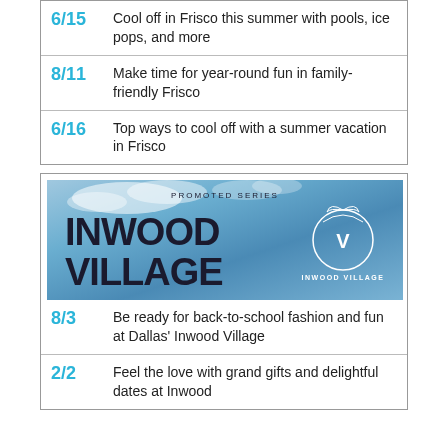6/15  Cool off in Frisco this summer with pools, ice pops, and more
8/11  Make time for year-round fun in family-friendly Frisco
6/16  Top ways to cool off with a summer vacation in Frisco
[Figure (logo): Inwood Village promoted series banner with sky background and logo]
8/3  Be ready for back-to-school fashion and fun at Dallas' Inwood Village
2/2  Feel the love with grand gifts and delightful dates at Inwood